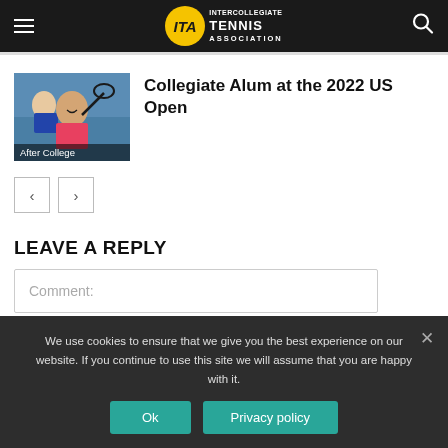ITA Intercollegiate Tennis Association
[Figure (photo): Tennis player smiling with racket, wearing pink shirt. Caption: After College]
Collegiate Alum at the 2022 US Open
LEAVE A REPLY
Comment:
We use cookies to ensure that we give you the best experience on our website. If you continue to use this site we will assume that you are happy with it.